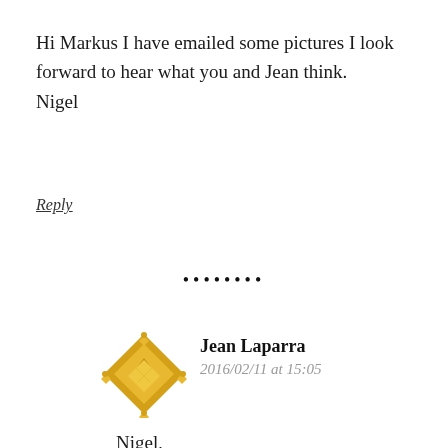Hi Markus I have emailed some pictures I look forward to hear what you and Jean think.
Nigel
Reply
[Figure (other): Decorative dot separator row]
[Figure (logo): Jean Laparra avatar icon — golden diamond/geometric pattern logo]
Jean Laparra
2016/02/11 at 15:05
Nigel,